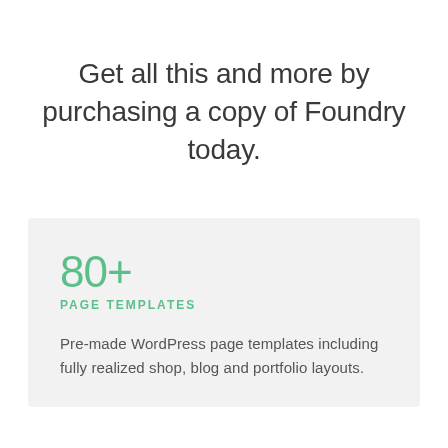Get all this and more by purchasing a copy of Foundry today.
80+
PAGE TEMPLATES
Pre-made WordPress page templates including fully realized shop, blog and portfolio layouts.